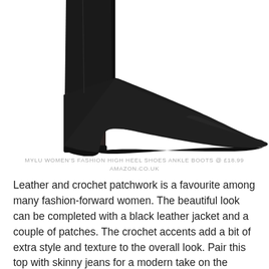[Figure (photo): Close-up photograph of a black women's high heel ankle boot with a pointed toe and block heel, photographed against a white background.]
MYLU WOMEN'S FASHION HIGH HEEL SHOES ANKLE BOOTS @ £18.99 AMAZON.CO.UK
Leather and crochet patchwork is a favourite among many fashion-forward women. The beautiful look can be completed with a black leather jacket and a couple of patches. The crochet accents add a bit of extra style and texture to the overall look. Pair this top with skinny jeans for a modern take on the vintage leather jacket look.